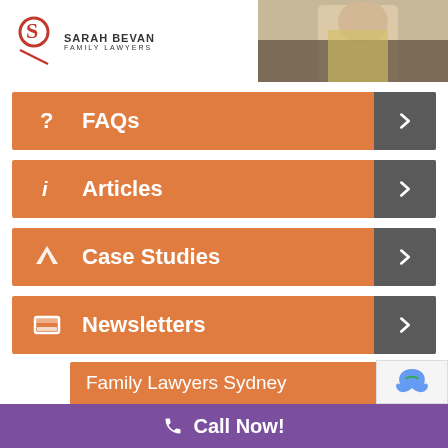[Figure (logo): Sarah Bevan Family Lawyers logo with stylized S icon]
[Figure (photo): Header photo showing person in yellow/light top with dark background]
FAQs
Articles
Case Studies
Newsletters
Family Lawyers Sydney
Call Now!